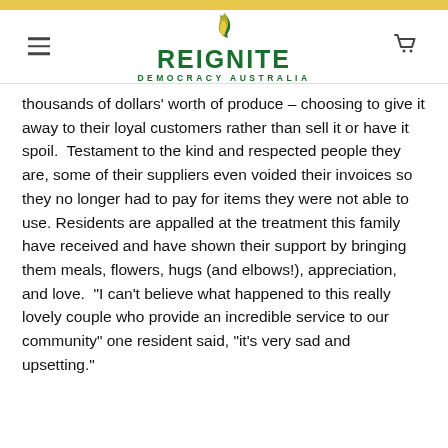[Figure (logo): Reignite Democracy Australia logo with green flame and green text]
thousands of dollars' worth of produce – choosing to give it away to their loyal customers rather than sell it or have it spoil.  Testament to the kind and respected people they are, some of their suppliers even voided their invoices so they no longer had to pay for items they were not able to use. Residents are appalled at the treatment this family have received and have shown their support by bringing them meals, flowers, hugs (and elbows!), appreciation, and love.  "I can't believe what happened to this really lovely couple who provide an incredible service to our community" one resident said, "it's very sad and upsetting."